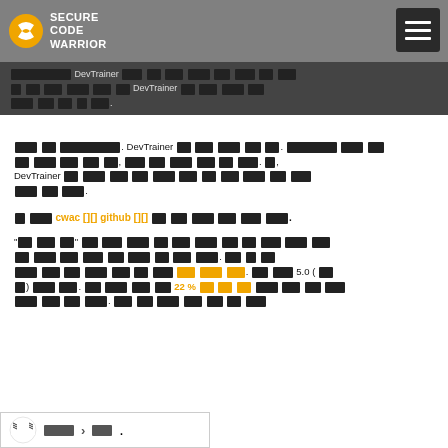Secure Code Warrior logo and navigation header
Header text bar with DevTrainer mention and redacted Korean text
Redacted Korean body paragraph mentioning DevTrainer
Redacted Korean sentence with cwac and github links highlighted in orange
Redacted Korean paragraph mentioning 5.0 rating and 22% statistic highlighted in orange
Language bar with Korean flag